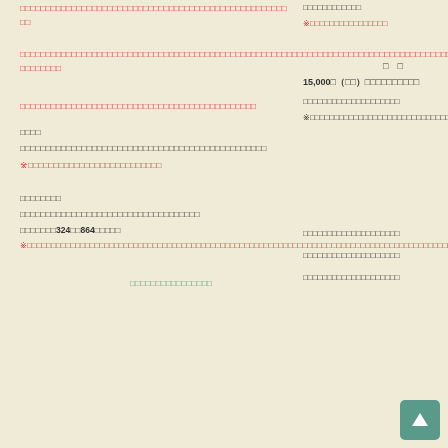□□□□□□□□□□□□□□□□□□□□□□□□□□□□□□□□□□□□□□□□□□□□□□□
□□
□□□□□□□□□□□□□□□□□□□□□□□□□□□□□□□□□□□□□□□□□□□□□□□□□□□□□□□□□□□□□□□□□□□□□□□□□□□□□□□□□□□□□□□□□□□□□□□□□□□□□□□□□□
□□□□
□□□□□□□□□□□□□□□□□□□□□□□□□□□□□□□□□□□□□□□□□□□□□□□□
※□□□□□□□□□□□□□□□□□□□□□□□□□□
□□□□□□□□
□□□□□□□□□□□□□□□□□□□□□□□□□□□□□□□□□□□
□□□□□□□324□□864□□□□□
※□□□□□□□□□□□□□□□□□□□□□□□□□□□□□□□□□□□□□□□□□□□□□□□□□□□□□□□□□□□□□□□□□□□□□□□□□□□□□□□□□□□□□□□□□□□□□□□□
□□□□□□□□□□□□□□□□
□□□□□□□□□□□□□□□□□□□□
□□□□□□□□□□□□□□□□□□□□□□□□□□□□□□□□□□□□□□□□□□□□□□□□□□□□□□□□□□□□□□□□□□□□□□□□□□□□□□□□□□□□□□□□□□□□□□□□□□□□□□□□□□□□□□□□□□□□□□□□□□□□□□□□□□
□□□□□□□□□□□□□□□□□□□□□□□□□□□□□□□□□□□□□□□□
15,000□（□□）□□□□□□□□□□□□□□□□□□□□□□□□□□□□□□□□□□□□□□□□□□
□□□□□□□□□□□□□□□□□□□□□□□□□□□□□□□□□□□□□□□□□□□□□□□□□□□□□□□□□□□□□□□□□□□□□□□□□□□□□□□□□□□□□□□□□□□□□□□□□□□□□□□□□□□□□□□□□□□□□□□□□□□□□□□□□□□□□□□□□□□□□□□□□□□□□□□□□□□□□□□□□□□□□□□□□□□□□□□□□□□□□□□□□□□□□□□□□□□□□□□□□□□□□□□□□□□□□□□□□□□□□□□□□□□□□□□□□□□□□□□□□□□□□□□□□□□□□□□□□□□□□□□□□□□□□□□□□□□□□□□□□□□□□□□□□□□□□□□□□□□
※□□□□□□□□□□□□□□□□□□□□□□□□□□□□□□□□□□□□□□□□□□□□□□□□□□□□□□□□□□□□□□□□□□□□□□□□□□□□□□□□□□□□□□□□□□□□□□□□□□□□□□□□□□□□□□□□□□□□□□□□□□□□□□□□□□□□□□□□□□□□□□□□□□□□□□□□□□□□□□□□□□□□□□□□□□□□□□□□□□□□□□□□□□□□□□□□□□□□□□□□□□□□□□□□□□□□□□□□□□□□□□□□□□□□□□□□□□□□□□□□□□□□□□□□□□□□□□□□□□□□□□□□□□□□□□□□□□□□□□□□□□□□□□□□□□□□□□□□□□□□□□□□□□□□□□□□□□□□□□□□□□□
□□□□□□□□□□□□□□□□□□□□□□□□□□□□□□□□□□□□□□□□□□□□□□□□□□□□□□□□□□□□□□□□□□□□□□□□□□□□□□□□□□□□□□□□□□□□□□□□□□□□□□□□□□□□□□□□□□□□□□□□□□□□□□□□□□□□□□□□□□□□□□□□□□□□□□□□□□□□□□□□□□□□□□□□□□□□□□□□□□□□□□□□□□□□□□□□□□□□□□□□□□□□□□□□□□□□□□□□□□□□□□□□□□□□□□□□□□□□□□□□□□□□□□□□□□□□□□□□□□□□□□□□□□□□□□□□□□□□□□□□□□□□□□□□□□□□□□□□□□□□□□□□□□□□□□□□□□□□□□□□□□□□□□□□□□□□□□□□□□□□□□□□□□□□□□□□□□□□□□□□□□□□□□□□□□□□□□□□□□□□□□□□□□□□□□□□□□□□□□□□□□□□□□□□□□□□□□□□□□□□□□□□□□□□□□□□□□□□□□□□□□□□□□□□□□□□□□□□□□□□□□□□□□□□□□□□□□□□□□□□□□□□□□□□□□□□□□□□□□□□□□□□□□□□□□□□□□□□□□□□□□□□□□□□□□□□□□□□□□□□□□□□□□□□